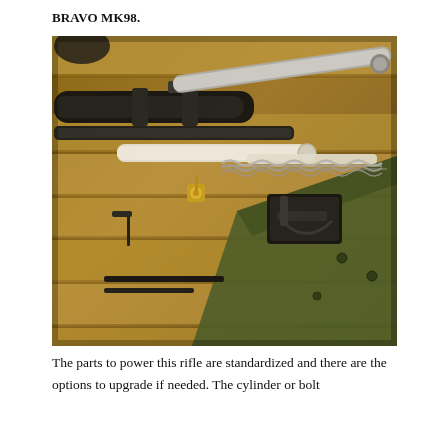BRAVO MK98.
[Figure (photo): Disassembled airsoft or replica bolt-action rifle laid out on a wooden surface. Components visible include a barrel with scope, bolt assembly with silver cylinder, white plastic cylinder, spring, trigger group, green stock/chassis, and a small brass fitting. Parts are arranged on wooden planks.]
The parts to power this rifle are standardized and there are the options to upgrade if needed. The cylinder or bolt